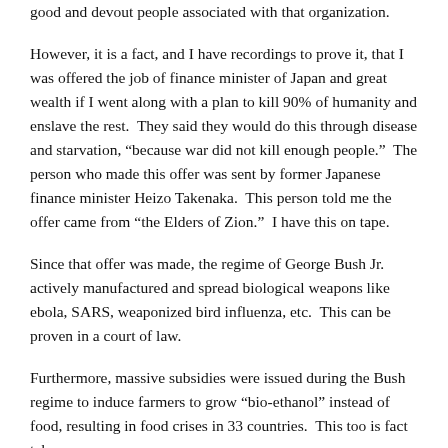good and devout people associated with that organization.
However, it is a fact, and I have recordings to prove it, that I was offered the job of finance minister of Japan and great wealth if I went along with a plan to kill 90% of humanity and enslave the rest.  They said they would do this through disease and starvation, “because war did not kill enough people.”  The person who made this offer was sent by former Japanese finance minister Heizo Takenaka.  This person told me the offer came from “the Elders of Zion.”  I have this on tape.
Since that offer was made, the regime of George Bush Jr. actively manufactured and spread biological weapons like ebola, SARS, weaponized bird influenza, etc.  This can be proven in a court of law.
Furthermore, massive subsidies were issued during the Bush regime to induce farmers to grow “bio-ethanol” instead of food, resulting in food crises in 33 countries.  This too is fact taken